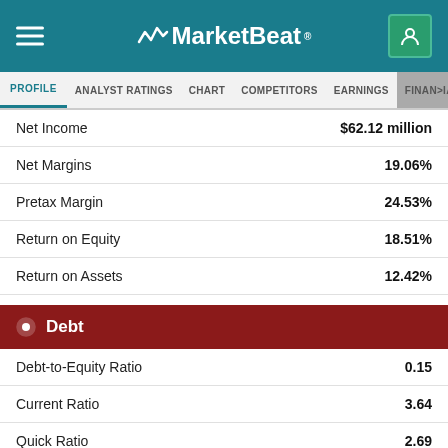MarketBeat
PROFILE | ANALYST RATINGS | CHART | COMPETITORS | EARNINGS | FINANCIAL
|  |  |
| --- | --- |
| Net Income | $62.12 million |
| Net Margins | 19.06% |
| Pretax Margin | 24.53% |
| Return on Equity | 18.51% |
| Return on Assets | 12.42% |
Debt
|  |  |
| --- | --- |
| Debt-to-Equity Ratio | 0.15 |
| Current Ratio | 3.64 |
| Quick Ratio | 2.69 |
Sales & Book Value
|  |  |
| --- | --- |
| Annual Sales | $437.77 million |